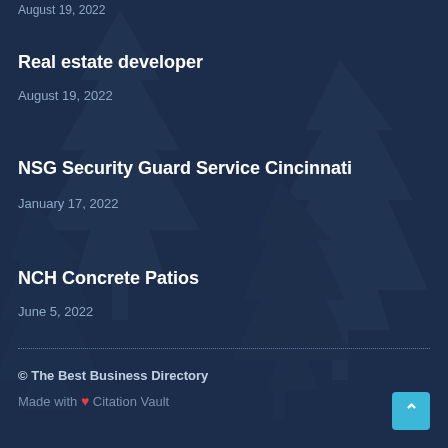August 19, 2022
Real estate developer
August 19, 2022
NSG Security Guard Service Cincinnati
January 17, 2022
NCH Concrete Patios
June 5, 2022
© The Best Business Directory
Made with ❤ Citation Vault